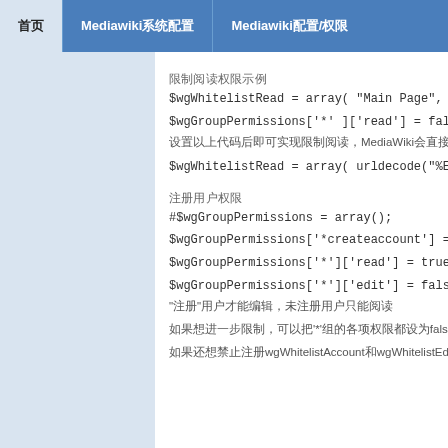首页 | Mediawiki系统配置 | Mediawiki配置/权限
限制阅读权限示例
$wgWhitelistRead = array( "Main Page", "Spec...
$wgGroupPermissions['*']['read'] = false;
设置以上代码后即可实现限制阅读，MediaWiki会直接跳转到index...
$wgWhitelistRead = array( urldecode("%E9%A...
注册用户权限
#$wgGroupPermissions = array();
$wgGroupPermissions['*createaccount'] = false...
$wgGroupPermissions['*']['read'] = true;
$wgGroupPermissions['*']['edit'] = false;
"注册"用户才能编辑，未注册用户只能阅读
如果想进一步限制，可以把'*'组的各项权限都设为false，然后...
如果还想禁止注册wgWhitelistAccount和wgWhitelistEdit...